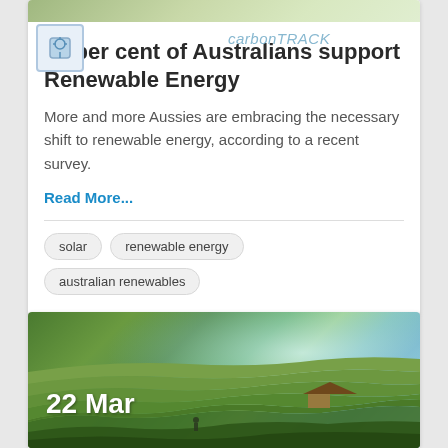[Figure (photo): Partial top view of a nature/green landscape image at the top of a card]
96 per cent of Australians support Renewable Energy
More and more Aussies are embracing the necessary shift to renewable energy, according to a recent survey.
Read More...
solar
renewable energy
australian renewables
[Figure (photo): Aerial photo of green terraced rice fields with a small hut and a person, with a glowing sky in the background. Date overlay reads 22 Mar.]